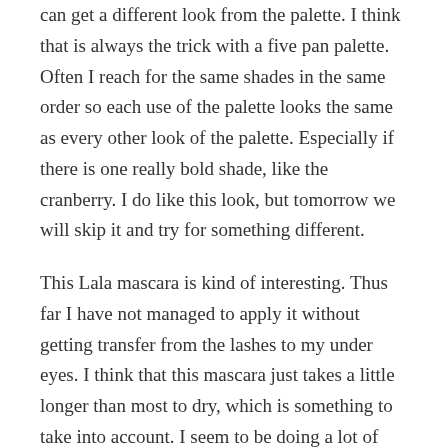can get a different look from the palette. I think that is always the trick with a five pan palette. Often I reach for the same shades in the same order so each use of the palette looks the same as every other look of the palette. Especially if there is one really bold shade, like the cranberry. I do like this look, but tomorrow we will skip it and try for something different.
This Lala mascara is kind of interesting. Thus far I have not managed to apply it without getting transfer from the lashes to my under eyes. I think that this mascara just takes a little longer than most to dry, which is something to take into account. I seem to be doing a lot of clean up with it.
The t...